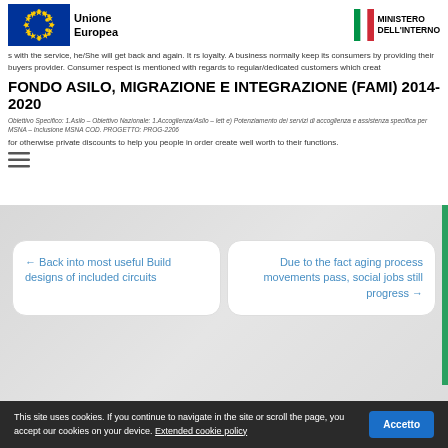[Figure (logo): EU flag logo with stars on blue background and 'Unione Europea' text]
[Figure (logo): Italian flag and Ministero dell'Interno logo]
s with the service, he/She will get back and again. It rs loyalty. A business normally keep its consumers by providing their buyers provider. Consumer respect is mentioned with regards to regular/dedicated customers which creat for otherwise private discounts to help you people in order create well worth to their functions.
FONDO ASILO, MIGRAZIONE E INTEGRAZIONE (FAMI) 2014-2020
Obiettivo Specifico: 1.Asilo – Obiettivo Nazionale: 1.Accoglienza/Asilo – lett e) Potenziamento dei servizi di accoglienza e assistenza specifica per MSNA – Inclusione MSNA COD. PROGETTO: PROG-2206
← Back into most useful Build designs of included circuits
Due to the fact aging process movements pass, social jobs still progress →
This site uses cookies. If you continue to navigate in the site or scroll the page, you accept our cookies on your device. Extended cookie policy  Accetto